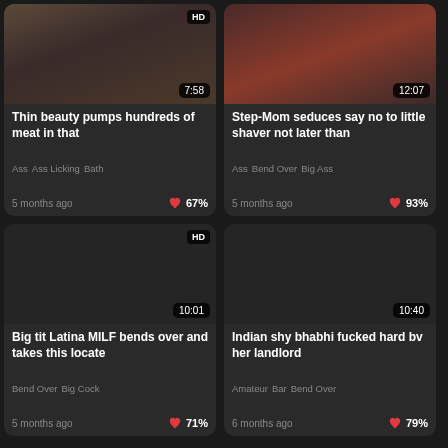[Figure (screenshot): Video thumbnail 1 - dark toned image with HD badge and 7:58 duration]
Thin beauty pumps hundreds of meat in that
Ass  Ass Licking  Bath
5 months ago  67%
[Figure (screenshot): Video thumbnail 2 - red table image with 12:07 duration]
Step-Mom seduces say no to little shaver not later than
Ass  Bend Over  Big Ass
5 months ago  93%
[Figure (screenshot): Video thumbnail 3 - dark image with HD badge and 10:01 duration]
Big tit Latina MILF bends over and takes this locate
Bend Over  Big Cock
5 months ago  71%
[Figure (screenshot): Video thumbnail 4 - dark image with 10:40 duration]
Indian shy bhabhi fucked hard bv her landlord
Amateur  Bar  Bend Over
6 months ago  79%